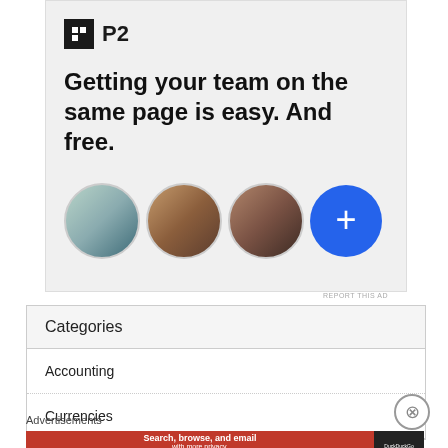[Figure (infographic): P2 advertisement banner with logo, headline text 'Getting your team on the same page is easy. And free.' and three circular avatar photos plus a blue plus button]
REPORT THIS AD
Categories
Accounting
Currencies
Advertisements
[Figure (infographic): DuckDuckGo advertisement: 'Search, browse, and email with more privacy. All in One Free App' on red background with DuckDuckGo logo on dark background]